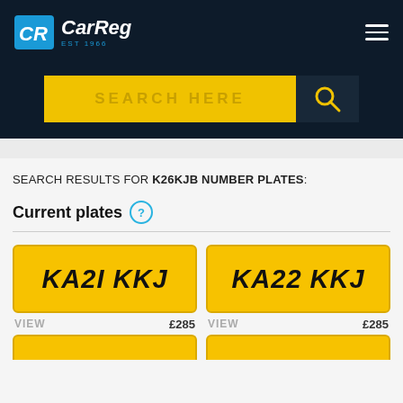[Figure (logo): CarReg logo with CR icon on dark navy background, with hamburger menu icon on right]
[Figure (screenshot): Yellow search bar with SEARCH HERE placeholder text and search icon button on dark background]
SEARCH RESULTS FOR K26KJB NUMBER PLATES:
Current plates
KA2I KKJ VIEW £285
KA22 KKJ VIEW £285